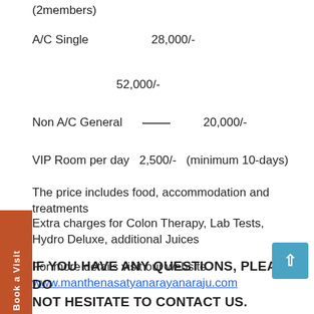(2members)
A/C Single    28,000/-
             52,000/-
Non A/C General  —  20,000/-
VIP Room per day   2,500/-  (minimum 10-days)
The price includes food, accommodation and treatments
Extra charges for Colon Therapy, Lab Tests, Hydro Deluxe, additional Juices
For more details visit our website
www.manthenasatyanarayanaraju.com
IF YOU HAVE ANY QUESTIONS, PLEASE DO NOT HESITATE TO CONTACT US.